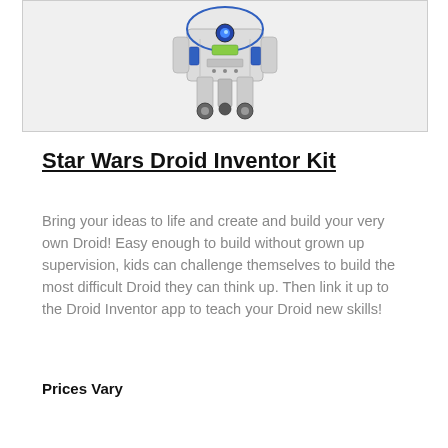[Figure (photo): Star Wars R2-D2 style Droid Inventor Kit robot shown from a front-side angle, metallic white and silver with blue and green accents, wheels visible, set against a light gray background]
Star Wars Droid Inventor Kit
Bring your ideas to life and create and build your very own Droid! Easy enough to build without grown up supervision, kids can challenge themselves to build the most difficult Droid they can think up. Then link it up to the Droid Inventor app to teach your Droid new skills!
Prices Vary